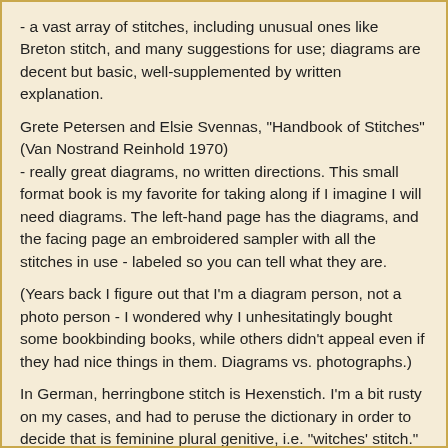- a vast array of stitches, including unusual ones like Breton stitch, and many suggestions for use; diagrams are decent but basic, well-supplemented by written explanation.
Grete Petersen and Elsie Svennas, "Handbook of Stitches" (Van Nostrand Reinhold 1970)
- really great diagrams, no written directions. This small format book is my favorite for taking along if I imagine I will need diagrams. The left-hand page has the diagrams, and the facing page an embroidered sampler with all the stitches in use - labeled so you can tell what they are.
(Years back I figure out that I'm a diagram person, not a photo person - I wondered why I unhesitatingly bought some bookbinding books, while others didn't appeal even if they had nice things in them. Diagrams vs. photographs.)
In German, herringbone stitch is Hexenstich. I'm a bit rusty on my cases, and had to peruse the dictionary in order to decide that is feminine plural genitive, i.e. "witches' stitch." (Nice examples at Handarbeitswelt, which I discovered while testing that my recollection of "Hexenstich" was correct.)